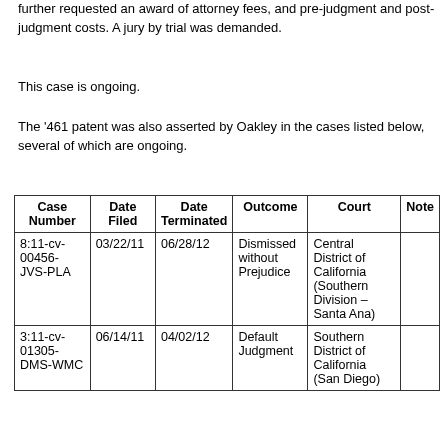further requested an award of attorney fees, and pre-judgment and post-judgment costs. A jury by trial was demanded.
This case is ongoing.
The '461 patent was also asserted by Oakley in the cases listed below, several of which are ongoing.
| Case Number | Date Filed | Date Terminated | Outcome | Court | Note |
| --- | --- | --- | --- | --- | --- |
| 8:11-cv-00456-JVS-PLA | 03/22/11 | 06/28/12 | Dismissed without Prejudice | Central District of California (Southern Division – Santa Ana) |  |
| 3:11-cv-01305-DMS-WMC | 06/14/11 | 04/02/12 | Default Judgment | Southern District of California (San Diego) |  |